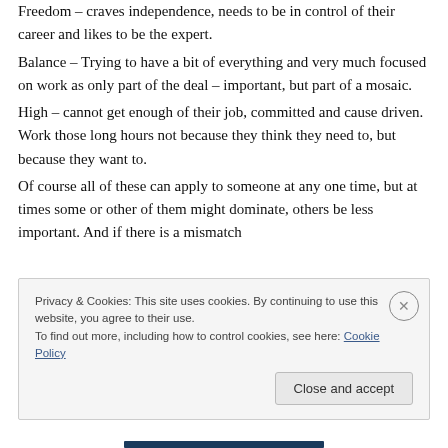Freedom – craves independence, needs to be in control of their career and likes to be the expert.
Balance – Trying to have a bit of everything and very much focused on work as only part of the deal – important, but part of a mosaic.
High – cannot get enough of their job, committed and cause driven. Work those long hours not because they think they need to, but because they want to.
Of course all of these can apply to someone at any one time, but at times some or other of them might dominate, others be less important. And if there is a mismatch
Privacy & Cookies: This site uses cookies. By continuing to use this website, you agree to their use.
To find out more, including how to control cookies, see here: Cookie Policy